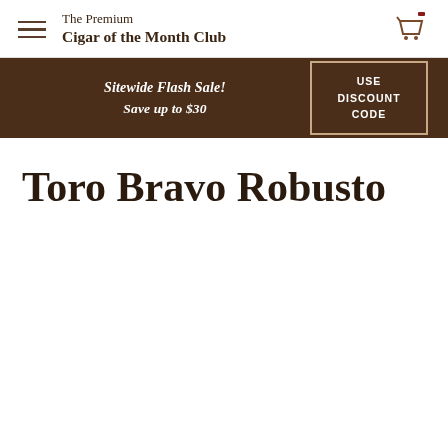The Premium Cigar of the Month Club
Sitewide Flash Sale! Save up to $30
USE DISCOUNT CODE
Toro Bravo Robusto